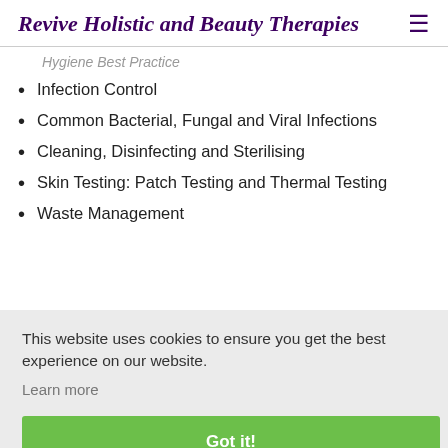Revive Holistic and Beauty Therapies
Hygiene Best Practice
Infection Control
Common Bacterial, Fungal and Viral Infections
Cleaning, Disinfecting and Sterilising
Skin Testing: Patch Testing and Thermal Testing
Waste Management
This website uses cookies to ensure you get the best experience on our website. Learn more
Got it!
you have a website and sell online